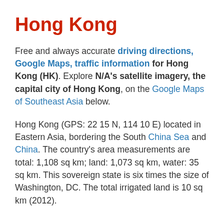Hong Kong
Free and always accurate driving directions, Google Maps, traffic information for Hong Kong (HK). Explore N/A's satellite imagery, the capital city of Hong Kong, on the Google Maps of Southeast Asia below.
Hong Kong (GPS: 22 15 N, 114 10 E) located in Eastern Asia, bordering the South China Sea and China. The country's area measurements are total: 1,108 sq km; land: 1,073 sq km, water: 35 sq km. This sovereign state is six times the size of Washington, DC. The total irrigated land is 10 sq km (2012).